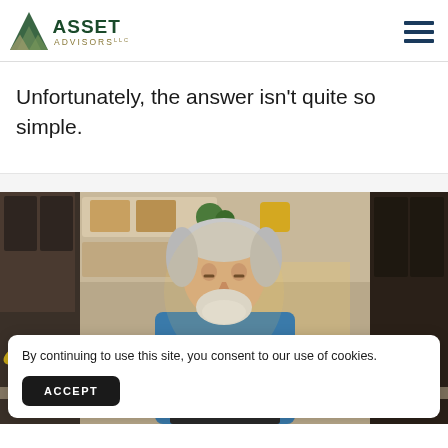Asset Advisors LLC
Unfortunately, the answer isn't quite so simple.
[Figure (photo): Elderly man with white hair and beard wearing a blue t-shirt, looking down, seated in a kitchen/home setting with shelves and cabinets in the background.]
By continuing to use this site, you consent to our use of cookies.